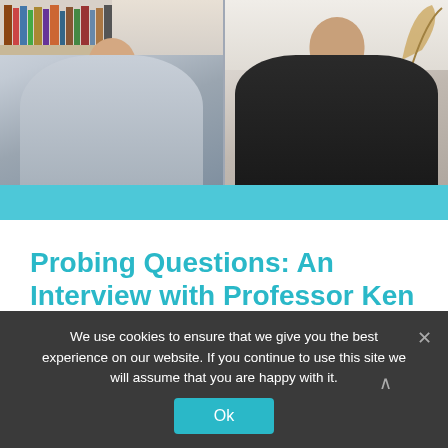[Figure (screenshot): Video call screenshot showing two people side by side: a man in a grey sweatshirt on the left with a bookshelf background, and an older man in a dark suit jacket with a light shirt on the right against a neutral background. Below the video frames is a teal/cyan colored bar.]
Probing Questions: An Interview with Professor Ken Wise
Recognized as a MEMS pioneer and one of the world's preeminent experts in
We use cookies to ensure that we give you the best experience on our website. If you continue to use this site we will assume that you are happy with it.
Ok